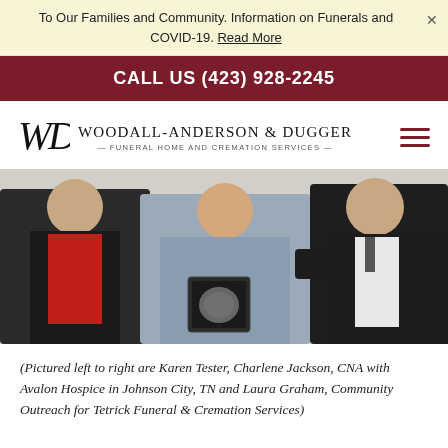To Our Families and Community. Information on Funerals and COVID-19. Read More
CALL US (423) 928-2245
[Figure (logo): Woodall-Anderson & Dugger Funeral Home and Cremation Services logo with stylized WAD monogram]
[Figure (photo): Three people standing together; middle person holding a framed award or plaque. Left person wearing black jacket and red sweater, middle in grey top, right in dark suit.]
(Pictured left to right are Karen Tester, Charlene Jackson, CNA with Avalon Hospice in Johnson City, TN and Laura Graham, Community Outreach for Tetrick Funeral & Cremation Services)